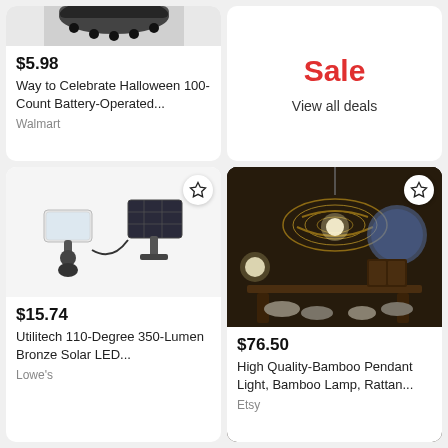[Figure (photo): Partial top of a product image (dark/black string lights) cropped at top of page]
$5.98
Way to Celebrate Halloween 100-Count Battery-Operated...
Walmart
Sale
View all deals
[Figure (photo): Solar LED floodlight with motion sensor and separate solar panel, bronze color]
$15.74
Utilitech 110-Degree 350-Lumen Bronze Solar LED...
Lowe's
[Figure (photo): Bamboo/rattan pendant lamp hanging over a dining table in a dark room]
$76.50
High Quality-Bamboo Pendant Light, Bamboo Lamp, Rattan...
Etsy